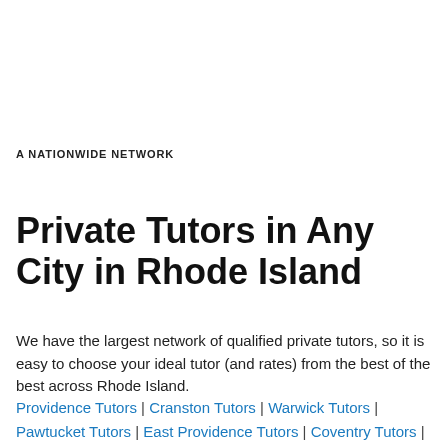A NATIONWIDE NETWORK
Private Tutors in Any City in Rhode Island
We have the largest network of qualified private tutors, so it is easy to choose your ideal tutor (and rates) from the best of the best across Rhode Island.
Providence Tutors | Cranston Tutors | Warwick Tutors | Pawtucket Tutors | East Providence Tutors | Coventry Tutors | Cumberland Tutors | Woonsocket Tutors | West Warwick